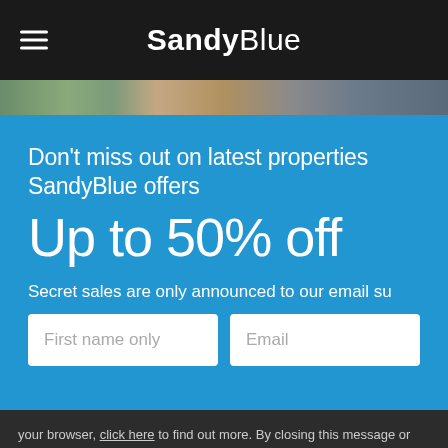SandyBlue
[Figure (photo): Partial photo strip showing property/landscape images]
Don't miss out on latest properties SandyBlue offers
Up to 50% off
Secret sales are only announced to our email su...
First name only
Email
your browser, click here to find out more. By closing this message or continuing to use this site (and why wouldn't you), you're saying you're ok with this.